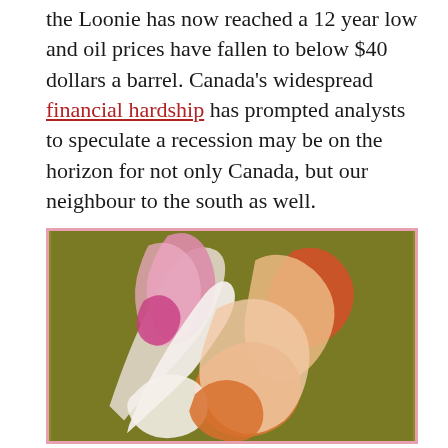the Loonie has now reached a 12 year low and oil prices have fallen to below $40 dollars a barrel. Canada's widespread financial hardship has prompted analysts to speculate a recession may be on the horizon for not only Canada, but our neighbour to the south as well.
[Figure (illustration): Abstract painting with a pink/rose border and olive green background, showing overlapping abstract organic shapes in pink, white, orange, and peach tones resembling stylized hands or petals.]